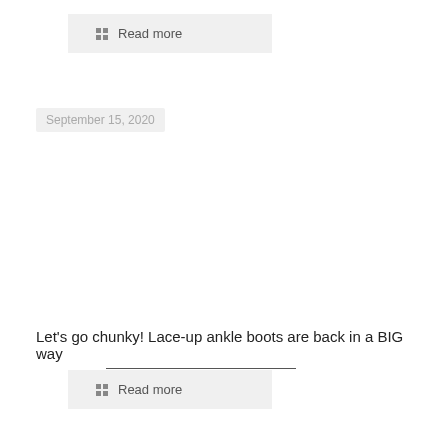Read more
September 15, 2020
Let's go chunky! Lace-up ankle boots are back in a BIG way
Read more